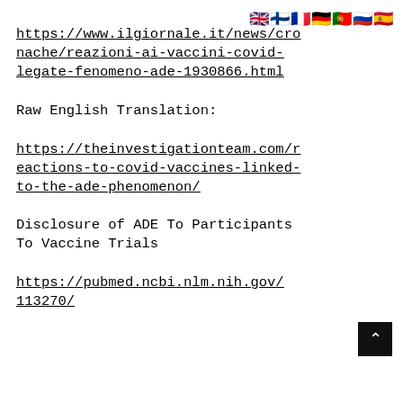[Figure (other): Row of flag emoji icons (UK, Finland, France, Germany, Portugal, Russia, Spain) in top right corner]
https://www.ilgiornale.it/news/cronache/reazioni-ai-vaccini-covid-legate-fenomeno-ade-1930866.html
Raw English Translation:
https://theinvestigationteam.com/reactions-to-covid-vaccines-linked-to-the-ade-phenomenon/
Disclosure of ADE To Participants To Vaccine Trials
https://pubmed.ncbi.nlm.nih.gov/113270/